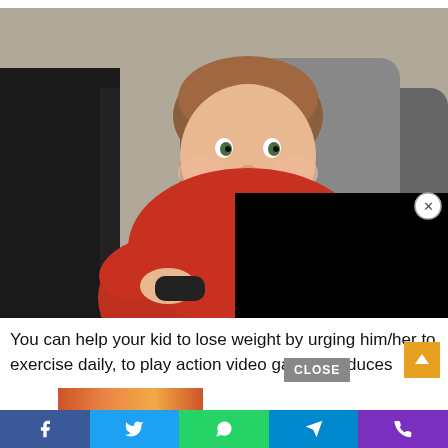[Figure (photo): Overweight boy in red shirt sitting on a gray couch holding a video game controller, with a TV screen visible on the left. A black overlay covers part of the lower right of the image with a close (X) button.]
You can help your kid to lose weight by urging him/her to exercise daily, to play action video games, reduces
[Figure (screenshot): Social media sharing bar at the bottom with buttons for Facebook (blue), Twitter (blue), WhatsApp (green), Telegram (blue), and phone/viber (purple). A CLOSE button overlay and orange scroll-to-top button are also visible.]